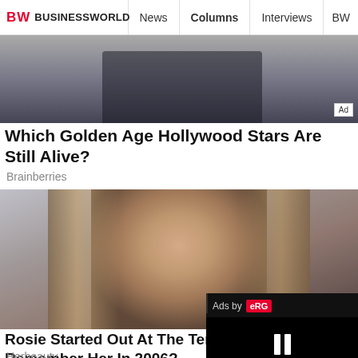BW BUSINESSWORLD | News | Columns | Interviews | BW
[Figure (photo): Partial view of a photo showing a person in dark clothing, used as an advertisement banner image. An 'Ad' badge is visible in the bottom right corner.]
Which Golden Age Hollywood Stars Are Still Alive?
Brainberries
[Figure (photo): Close-up portrait photo of Rosie Huntington-Whiteley, a young woman with long brown hair, blue eyes, and chandelier earrings, against a gray background.]
Rosie Started Out At The Tender... Remember Her In 2006?
Herbeauty
[Figure (screenshot): A video player overlay in the bottom-right corner with a black background, an 'x' close button, 'Ads by eRG' label at the top, and a pause button (two vertical bars) in the center.]